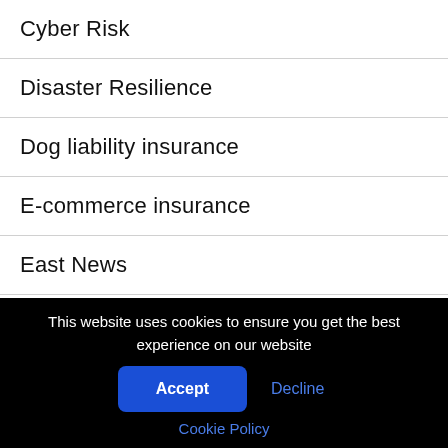Cyber Risk
Disaster Resilience
Dog liability insurance
E-commerce insurance
East News
employers liability insurance
This website uses cookies to ensure you get the best experience on our website
Accept
Decline
Cookie Policy